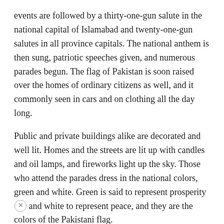events are followed by a thirty-one-gun salute in the national capital of Islamabad and twenty-one-gun salutes in all province capitals. The national anthem is then sung, patriotic speeches given, and numerous parades begun. The flag of Pakistan is soon raised over the homes of ordinary citizens as well, and it commonly seen in cars and on clothing all the day long.
Public and private buildings alike are decorated and well lit. Homes and the streets are lit up with candles and oil lamps, and fireworks light up the sky. Those who attend the parades dress in the national colors, green and white. Green is said to represent prosperity and white to represent peace, and they are the colors of the Pakistani flag.
People also visit many of the nation's monuments and historic sites to remember their country's past. Those